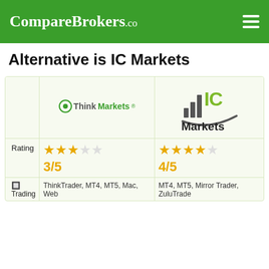CompareBrokers.co
Alternative is IC Markets
|  | ThinkMarkets | IC Markets |
| --- | --- | --- |
| Rating | 3/5 ★★★☆☆ | 4/5 ★★★★☆ |
| Trading | ThinkTrader, MT4, MT5, Mac, Web | MT4, MT5, Mirror Trader, ZuluTrade |